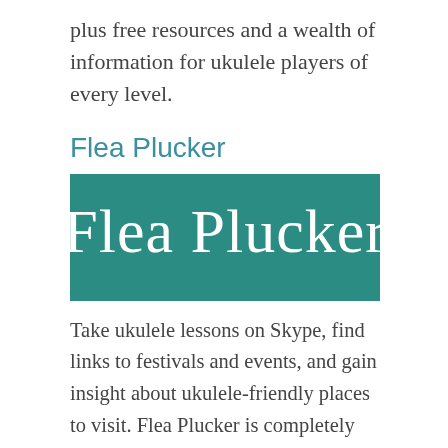plus free resources and a wealth of information for ukulele players of every level.
Flea Plucker
[Figure (logo): Flea Plucker logo: teal/dark-green rectangular banner with white cursive script text reading 'Flea Plucker']
Take ukulele lessons on Skype, find links to festivals and events, and gain insight about ukulele-friendly places to visit. Flea Plucker is completely dedicated to bringing ukulele players together, and it is brimming with information you’ll appreciate. The blog is updated frequently, plus it features a robust series of archives